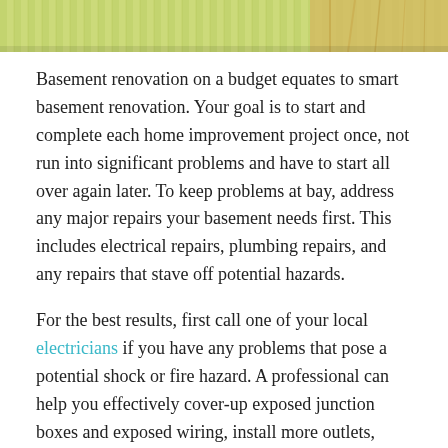[Figure (photo): Top portion of a photo showing green/yellow striped background (possibly bamboo or grass) with what appears to be wooden/tool elements in the upper right corner, partially cropped.]
Basement renovation on a budget equates to smart basement renovation. Your goal is to start and complete each home improvement project once, not run into significant problems and have to start all over again later. To keep problems at bay, address any major repairs your basement needs first. This includes electrical repairs, plumbing repairs, and any repairs that stave off potential hazards.
For the best results, first call one of your local electricians if you have any problems that pose a potential shock or fire hazard. A professional can help you effectively cover-up exposed junction boxes and exposed wiring, install more outlets, install ground-fault circuit interrupters (GFCIs), and fix outlets with loose connections. Too few outlets can lead to blown